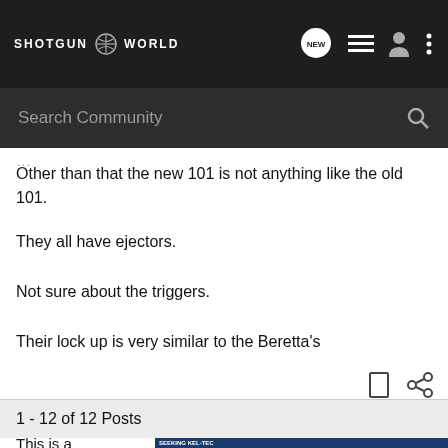SHOTGUN WORLD
Other than that the new 101 is not anything like the old 101.
They all have ejectors.
Not sure about the triggers.
Their lock up is very similar to the Beretta's
1 - 12 of 12 Posts
This is a ... ould be reviving
[Figure (screenshot): Advertisement banner for Kel-Tec CP33 pistol with text SEEKING LONG RANGE RELATIONSHIP and Buy Now button]